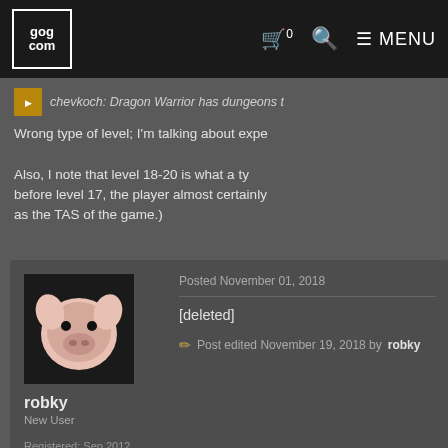GOG.COM navigation bar
chevkoch: Dragon Warrior has dungeons t
Wrong type of level; I'm talking about expe

Also, I note that level 18-20 is what a ty before level 17, the player almost certainly as the TAS of the game.)
robky
New User
Registered: Sep 2012
From Denmark
Posted November 01, 2018
[deleted]
Post edited November 19, 2018 by robky
Vainamoinen
antidotic gamer
Posted November 01, 2018
robky: i used to go to a club before and g